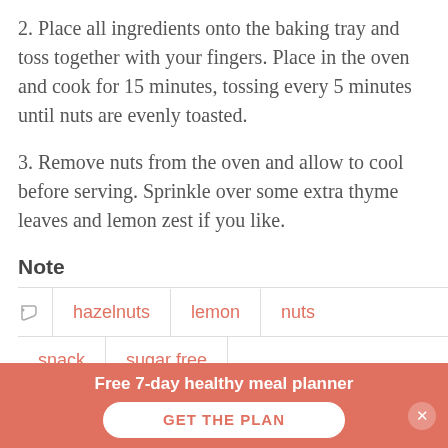2. Place all ingredients onto the baking tray and toss together with your fingers. Place in the oven and cook for 15 minutes, tossing every 5 minutes until nuts are evenly toasted.
3. Remove nuts from the oven and allow to cool before serving. Sprinkle over some extra thyme leaves and lemon zest if you like.
Note
hazelnuts | lemon | nuts | snack | sugar free | sugar-free snack | thyme
Free 7-day healthy meal planner  GET THE PLAN